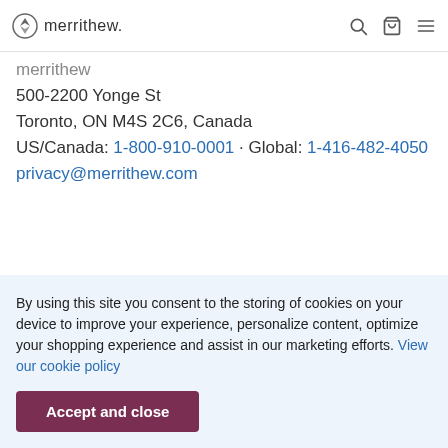merrithew.
merrithew
500-2200 Yonge St
Toronto, ON M4S 2C6, Canada
US/Canada: 1-800-910-0001 · Global: 1-416-482-4050
privacy@merrithew.com
By using this site you consent to the storing of cookies on your device to improve your experience, personalize content, optimize your shopping experience and assist in our marketing efforts. View our cookie policy
Accept and close